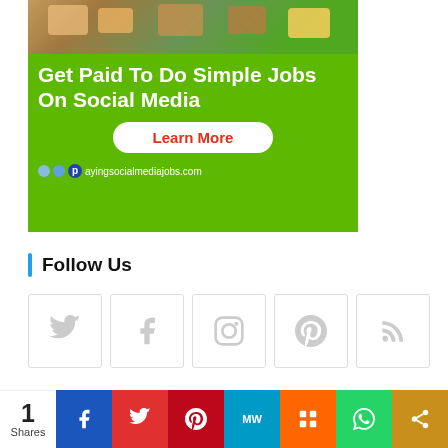[Figure (infographic): Advertisement banner for payingsocialmediajobs.com with green background, photo of students, bold white text 'Get Paid To Do Simple Jobs On Social Media', a white 'Learn More' button with red text, and the website URL at the bottom.]
Follow Us
[Figure (infographic): Row of five social media icon boxes: Twitter bird icon, Facebook f icon, Instagram camera icon, Pinterest P icon, RSS feed icon — all in light grey on white square bordered boxes.]
[Figure (infographic): Share bar at the bottom showing share count '1 Shares' and colored social media share buttons: Facebook (blue), Twitter (red), Pinterest (dark red), MeWe (teal), Mix (orange), WhatsApp (green), Share (dark yellow).]